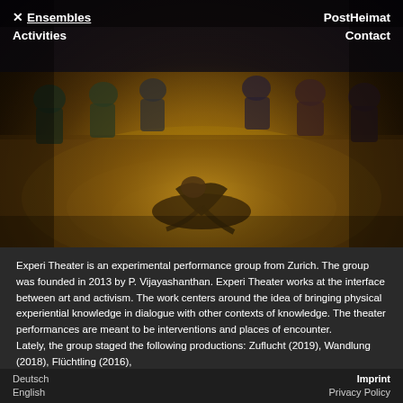[Figure (photo): Theater performance scene: a performer crouched low on a wooden stage floor, surrounded by an audience seated in a circle in a dimly lit room with warm amber/orange stage lighting.]
× Ensembles  Activities  |  PostHeimat  Contact
Experi Theater is an experimental performance group from Zurich. The group was founded in 2013 by P. Vijayashanthan. Experi Theater works at the interface between art and activism. The work centers around the idea of bringing physical experiential knowledge in dialogue with other contexts of knowledge. The theater performances are meant to be interventions and places of encounter. Lately, the group staged the following productions: Zuflucht (2019), Wandlung (2018), Flüchtling (2016),
Deutsch  English  |  Imprint  Privacy Policy